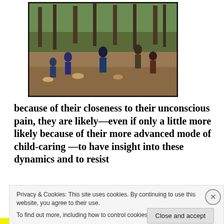[Figure (photo): Outdoor gathering of people drumming in a forest setting with trees in background, people standing and sitting with drums on sandy/dirt ground]
because of their closeness to their unconscious pain, they are likely—even if only a little more likely because of their more advanced mode of child-caring —to have insight into these dynamics and to resist
Privacy & Cookies: This site uses cookies. By continuing to use this website, you agree to their use.
To find out more, including how to control cookies, see here: Cookie Policy
Close and accept